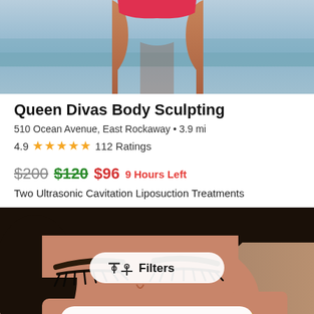[Figure (photo): Photo of a woman's lower torso in a red bikini against a blue ocean background]
Queen Divas Body Sculpting
510 Ocean Avenue, East Rockaway • 3.9 mi
4.9 ★★★★★ 112 Ratings
$200 $120 $96 9 Hours Left
Two Ultrasonic Cavitation Liposuction Treatments
[Figure (screenshot): Close-up photo of a woman's face with closed eyes and long eyelashes, with a Filters button overlay and an Open in app banner at the bottom]